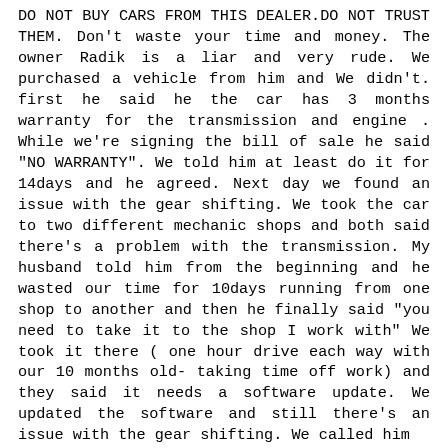DO NOT BUY CARS FROM THIS DEALER.DO NOT TRUST THEM. Don't waste your time and money. The owner Radik is a liar and very rude. We purchased a vehicle from him and We didn't. first he said he the car has 3 months warranty for the transmission and engine . While we're signing the bill of sale he said "NO WARRANTY". We told him at least do it for 14days and he agreed. Next day we found an issue with the gear shifting. We took the car to two different mechanic shops and both said there's a problem with the transmission. My husband told him from the beginning and he wasted our time for 10days running from one shop to another and then he finally said "you need to take it to the shop I work with" We took it there ( one hour drive each way with our 10 months old- taking time off work) and they said it needs a software update. We updated the software and still there's an issue with the gear shifting. We called him